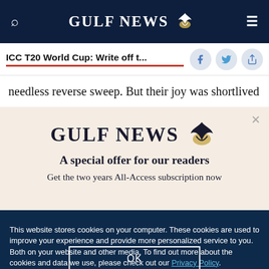GULF NEWS
ICC T20 World Cup: Write off t...
needless reverse sweep. But their joy was shortlived
[Figure (logo): Gulf News logo with eagle emblem and text 'A special offer for our readers']
Get the two years All-Access subscription now
This website stores cookies on your computer. These cookies are used to improve your experience and provide more personalized service to you. Both on your website and other media. To find out more about the cookies and data we use, please check out our Privacy Policy.
OK